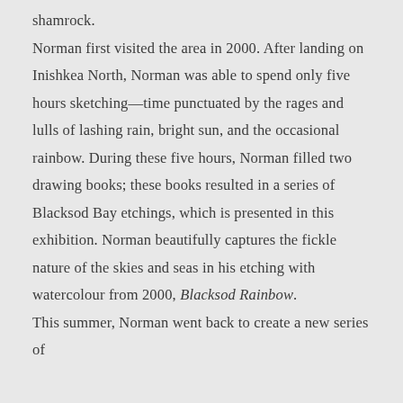shamrock.
Norman first visited the area in 2000. After landing on Inishkea North, Norman was able to spend only five hours sketching—time punctuated by the rages and lulls of lashing rain, bright sun, and the occasional rainbow. During these five hours, Norman filled two drawing books; these books resulted in a series of Blacksod Bay etchings, which is presented in this exhibition. Norman beautifully captures the fickle nature of the skies and seas in his etching with watercolour from 2000, Blacksod Rainbow.
This summer, Norman went back to create a new series of